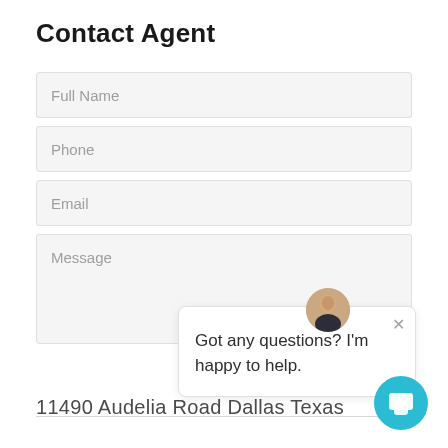Contact Agent
[Figure (screenshot): Contact Agent web form with fields: Full Name, Phone, Email, Message]
[Figure (infographic): Chat bubble popup with agent avatar, close button, and text: Got any questions? I'm happy to help.]
11490 Audelia Road Dallas Texas